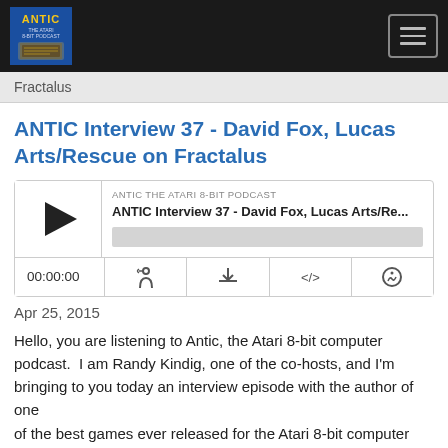[Figure (logo): ANTIC podcast logo — golden text on blue/dark background with an old computer illustration]
ANTIC podcast header bar with logo and hamburger menu
Fractalus
ANTIC Interview 37 - David Fox, Lucas Arts/Rescue on Fractalus
[Figure (screenshot): Audio player widget with play button, episode title 'ANTIC Interview 37 - David Fox, Lucas Arts/Re...', podcast name 'ANTIC THE ATARI 8-BIT PODCAST', progress bar, time display '00:00:00', and control icons for RSS, download, embed, and share]
Apr 25, 2015
Hello, you are listening to Antic, the Atari 8-bit computer podcast.  I am Randy Kindig, one of the co-hosts, and I'm bringing to you today an interview episode with the author of one
of the best games ever released for the Atari 8-bit computer line.
That would be David Fox, one of the authors of Rescue